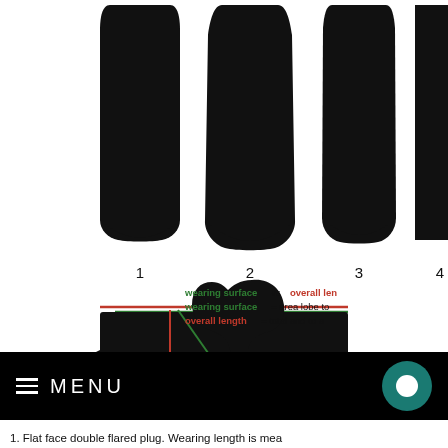[Figure (illustration): Row of plug/cam lobe cross-section silhouettes numbered 1-4 (top row) and 5-8 (middle row) showing different flared plug types with colored lines indicating wearing surface (green) vs overall length (red)]
wearing surface vs overall length
wearing surface = area lobe to
overall length = total end to e
1. Flat face double flared plug. Wearing length is mea